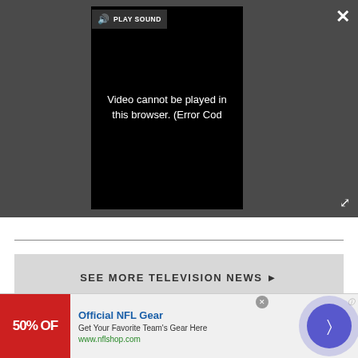[Figure (screenshot): Video player with dark gray background showing error message 'Video cannot be played in this browser. (Error Cod' and a PLAY SOUND button overlay. Close (X) button top right, expand button bottom right.]
SEE MORE TELEVISION NEWS ▶
MORE ABOUT...
LATEST
[Figure (photo): Partial photo visible at bottom left - warm toned blurred background]
[Figure (photo): Partial photo visible at bottom right - green foliage with red camera device]
[Figure (advertisement): Ad banner: Official NFL Gear - 50% OFF. Get Your Favorite Team's Gear Here. www.nflshop.com]